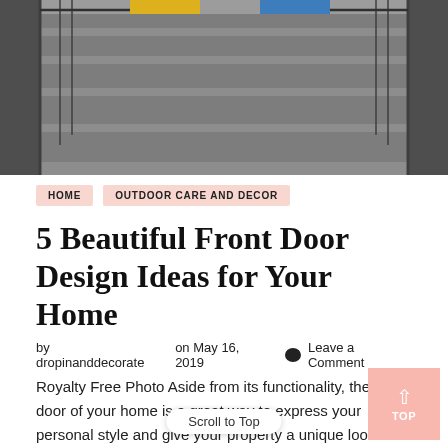[Figure (photo): Black and white photo of concrete exterior steps with iron railings on both sides. Two doors visible at top, one yellow and one blue.]
HOME   OUTDOOR CARE AND DECOR
5 Beautiful Front Door Design Ideas for Your Home
by dropinanddecorate   on May 16, 2019   Leave a Comment
Royalty Free Photo Aside from its functionality, the front door of your home is a great way to express your personal style and give your property a unique look. To many it's considered the top priority of the front of your ho makes sense, as it gives an immediate impressio welcoming, charming, dark